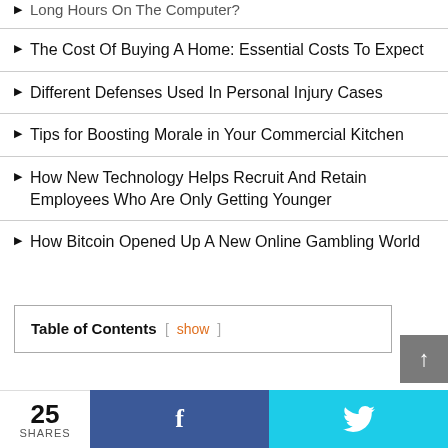The Cost Of Buying A Home: Essential Costs To Expect
Different Defenses Used In Personal Injury Cases
Tips for Boosting Morale in Your Commercial Kitchen
How New Technology Helps Recruit And Retain Employees Who Are Only Getting Younger
How Bitcoin Opened Up A New Online Gambling World
Table of Contents [ show ]
25 SHARES